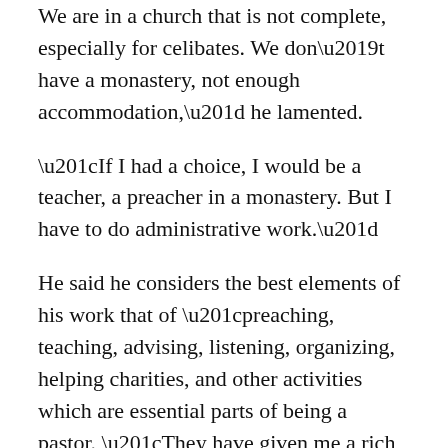We are in a church that is not complete, especially for celibates. We don’t have a monastery, not enough accommodation,” he lamented.
“If I had a choice, I would be a teacher, a preacher in a monastery. But I have to do administrative work.”
He said he considers the best elements of his work that of “preaching, teaching, advising, listening, organizing, helping charities, and other activities which are essential parts of being a pastor. “They have given me a rich human experience that for an attentive person becomes the source of wisdom,” he said thoughtfully.
“My relations have enriched me greatly, and my contacts with other people have helped me…